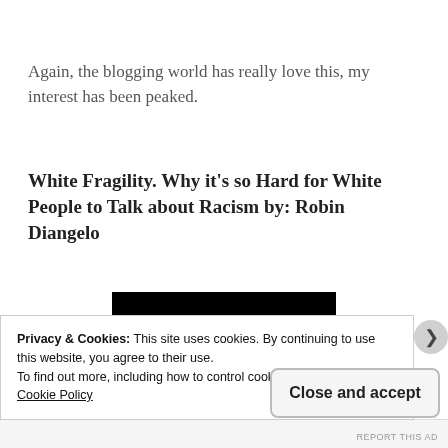Again, the blogging world has really love this, my interest has been peaked.
White Fragility. Why it’s so Hard for White People to Talk about Racism by: Robin Diangelo
[Figure (photo): Black rectangular image, likely a book cover (redacted/blacked out)]
Privacy & Cookies: This site uses cookies. By continuing to use this website, you agree to their use.
To find out more, including how to control cookies, see here:
Cookie Policy
Close and accept